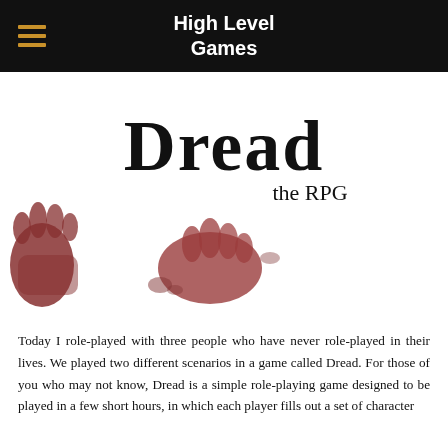High Level Games
[Figure (illustration): Cover image of 'Dread the RPG' book showing the title in large serif font with bloody handprints on a white background]
Today I role-played with three people who have never role-played in their lives. We played two different scenarios in a game called Dread. For those of you who may not know, Dread is a simple role-playing game designed to be played in a few short hours, in which each player fills out a set of character